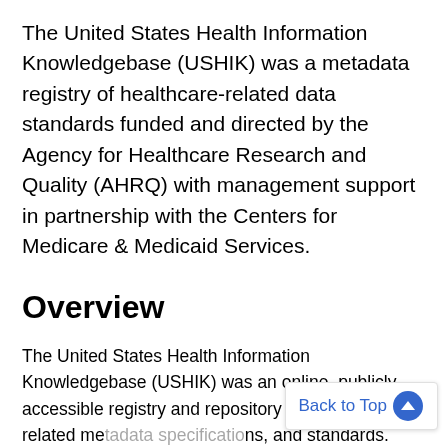The United States Health Information Knowledgebase (USHIK) was a metadata registry of healthcare-related data standards funded and directed by the Agency for Healthcare Research and Quality (AHRQ) with management support in partnership with the Centers for Medicare & Medicaid Services.
Overview
The United States Health Information Knowledgebase (USHIK) was an online, publicly accessible registry and repository of healthcare-related me... and standards. USHIK contained information from